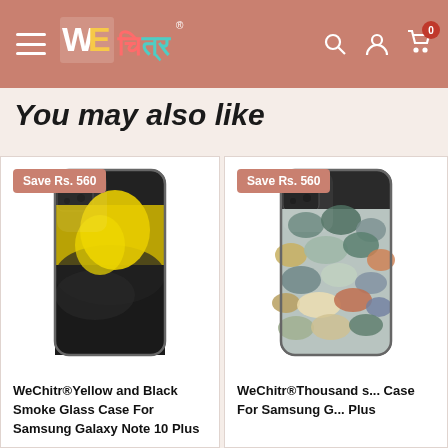WeChitr® — navigation header with hamburger menu, logo, search, account, and cart (0 items)
You may also like
[Figure (photo): WeChitr phone case with yellow and black smoke glass design for Samsung Galaxy Note 10 Plus]
WeChitr®Yellow and Black Smoke Glass Case For Samsung Galaxy Note 10 Plus
[Figure (photo): WeChitr phone case with thousand stones/pebbles design for Samsung Galaxy Note 10 Plus (partially visible)]
WeChitr®Thousand s... Case For Samsung G... Plus